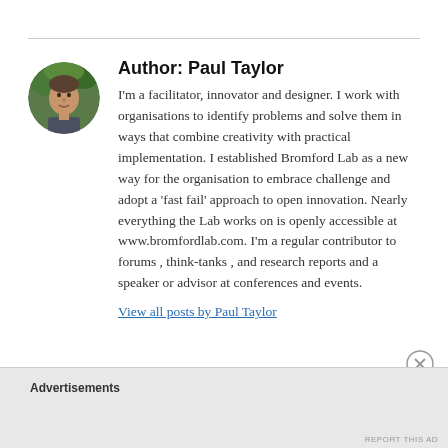[Figure (photo): Circular avatar photo of Paul Taylor, a man with short hair, outdoors with green foliage background]
Author: Paul Taylor
I'm a facilitator, innovator and designer. I work with organisations to identify problems and solve them in ways that combine creativity with practical implementation. I established Bromford Lab as a new way for the organisation to embrace challenge and adopt a 'fast fail' approach to open innovation. Nearly everything the Lab works on is openly accessible at www.bromfordlab.com. I'm a regular contributor to forums , think-tanks , and research reports and a speaker or advisor at conferences and events.
View all posts by Paul Taylor
Advertisements